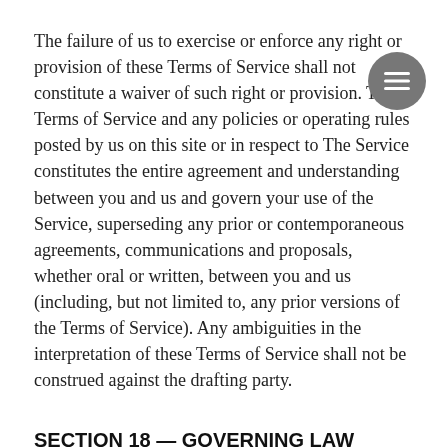The failure of us to exercise or enforce any right or provision of these Terms of Service shall not constitute a waiver of such right or provision. These Terms of Service and any policies or operating rules posted by us on this site or in respect to The Service constitutes the entire agreement and understanding between you and us and govern your use of the Service, superseding any prior or contemporaneous agreements, communications and proposals, whether oral or written, between you and us (including, but not limited to, any prior versions of the Terms of Service). Any ambiguities in the interpretation of these Terms of Service shall not be construed against the drafting party.
SECTION 18 — GOVERNING LAW
These Terms of Service and any separate agreements whereby we provide you Services shall be governed